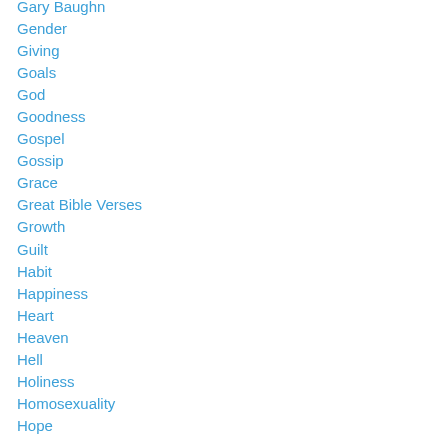Gary Baughn
Gender
Giving
Goals
God
Goodness
Gospel
Gossip
Grace
Great Bible Verses
Growth
Guilt
Habit
Happiness
Heart
Heaven
Hell
Holiness
Homosexuality
Hope